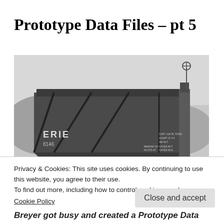Prototype Data Files – pt 5
[Figure (photo): Black and white photograph of an Erie railroad hopper/freight car (car number 8146-something) on tracks, showing the side and end of the car with diagonal bracing and lettering 'ERIE' visible on the side.]
Privacy & Cookies: This site uses cookies. By continuing to use this website, you agree to their use.
To find out more, including how to control cookies, see here:
Cookie Policy
Breyer got busy and created a Prototype Data